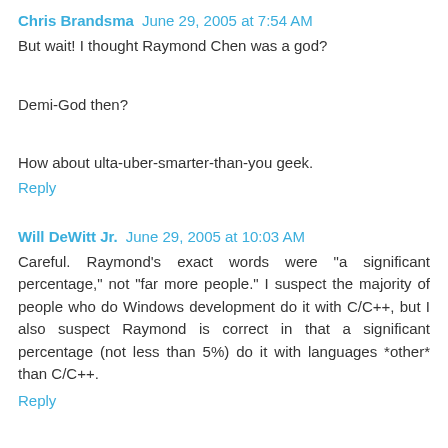Chris Brandsma  June 29, 2005 at 7:54 AM
But wait! I thought Raymond Chen was a god?
Demi-God then?
How about ulta-uber-smarter-than-you geek.
Reply
Will DeWitt Jr.  June 29, 2005 at 10:03 AM
Careful. Raymond's exact words were "a significant percentage," not "far more people." I suspect the majority of people who do Windows development do it with C/C++, but I also suspect Raymond is correct in that a significant percentage (not less than 5%) do it with languages *other* than C/C++.
Reply